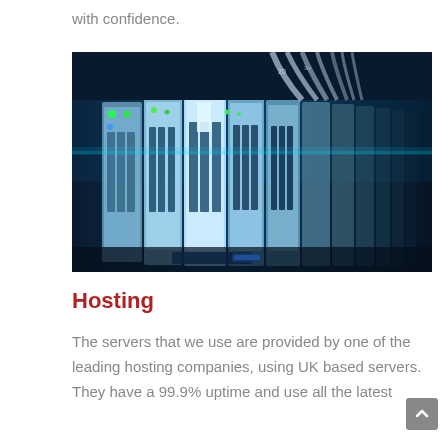with confidence.
[Figure (photo): A row of server blades with blue LED lighting and cables in a data center]
Hosting
The servers that we use are provided by one of the leading hosting companies, using UK based servers. They have a 99.9% uptime and use all the latest